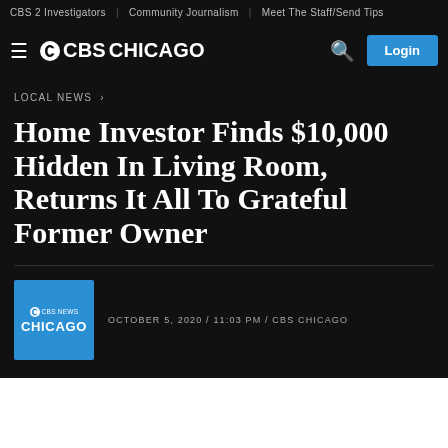CBS 2 Investigators | Community Journalism | Meet The Staff/Send Tips
[Figure (logo): CBS Chicago navigation bar with hamburger menu, CBS Chicago logo, search icon, and Login button]
LOCAL NEWS >
Home Investor Finds $10,000 Hidden In Living Room, Returns It All To Grateful Former Owner
[Figure (logo): CBS News Chicago blue square logo]
OCTOBER 5, 2020 / 11:03 PM / CBS CHICAGO